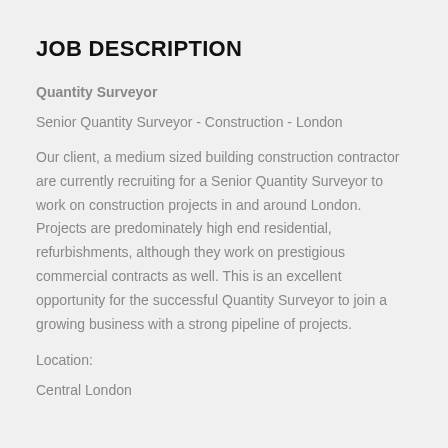JOB DESCRIPTION
Quantity Surveyor
Senior Quantity Surveyor - Construction - London
Our client, a medium sized building construction contractor are currently recruiting for a Senior Quantity Surveyor to work on construction projects in and around London. Projects are predominately high end residential, refurbishments, although they work on prestigious commercial contracts as well. This is an excellent opportunity for the successful Quantity Surveyor to join a growing business with a strong pipeline of projects.
Location:
Central London